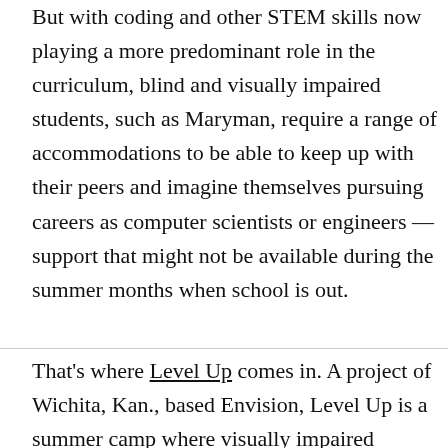But with coding and other STEM skills now playing a more predominant role in the curriculum, blind and visually impaired students, such as Maryman, require a range of accommodations to be able to keep up with their peers and imagine themselves pursuing careers as computer scientists or engineers — support that might not be available during the summer months when school is out.
That's where Level Up comes in. A project of Wichita, Kan., based Envision, Level Up is a summer camp where visually impaired middle and high school students learn how to use screen readers, magnification software and other forms of assistive technology. Students also work